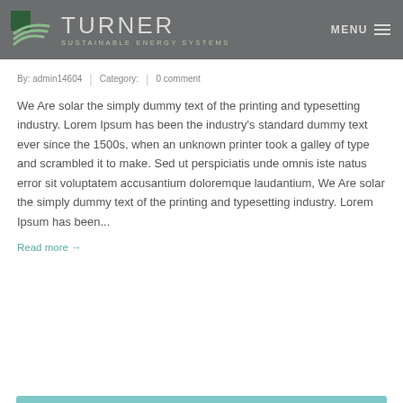TURNER SUSTAINABLE ENERGY SYSTEMS | MENU
By: admin14604 | Category: | 0 comment
We Are solar the simply dummy text of the printing and typesetting industry. Lorem Ipsum has been the industry's standard dummy text ever since the 1500s, when an unknown printer took a galley of type and scrambled it to make. Sed ut perspiciatis unde omnis iste natus error sit voluptatem accusantium doloremque laudantium, We Are solar the simply dummy text of the printing and typesetting industry. Lorem Ipsum has been...
Read more →